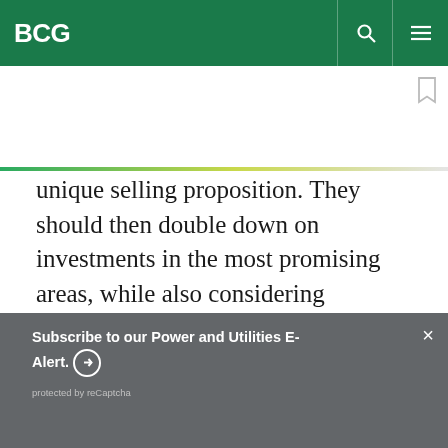BCG
unique selling proposition. They should then double down on investments in the most promising areas, while also considering
Subscribe to our Power and Utilities E-Alert.
protected by reCaptcha
By using this site, you agree with our use of cookies.
I consent to cookies
Want to know more?
Read our Cookie Policy